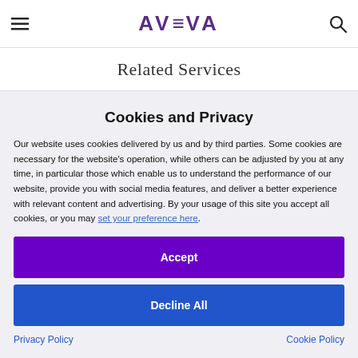AVEVA
Related Services
Cookies and Privacy
Our website uses cookies delivered by us and by third parties. Some cookies are necessary for the website’s operation, while others can be adjusted by you at any time, in particular those which enable us to understand the performance of our website, provide you with social media features, and deliver a better experience with relevant content and advertising. By your usage of this site you accept all cookies, or you may set your preference here.
Accept
Decline All
Privacy Policy
Cookie Policy